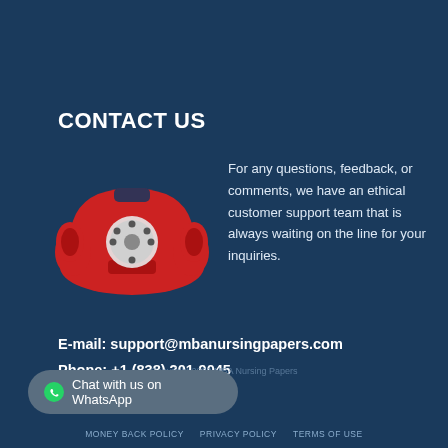CONTACT US
[Figure (illustration): Red retro telephone icon illustration]
For any questions, feedback, or comments, we have an ethical customer support team that is always waiting on the line for your inquiries.
E-mail: support@mbanursingpapers.com
Phone: +1 (838) 201-9045
Copyright 2020 MBA Nursing Papers
Chat with us on WhatsApp
MONEY BACK POLICY   PRIVACY POLICY   TERMS OF USE